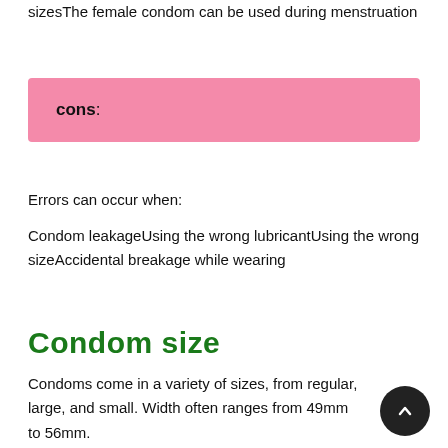sizesThe female condom can be used during menstruation
cons:
Errors can occur when:
Condom leakageUsing the wrong lubricantUsing the wrong sizeAccidental breakage while wearing
Condom size
Condoms come in a variety of sizes, from regular, large, and small. Width often ranges from 49mm to 56mm.